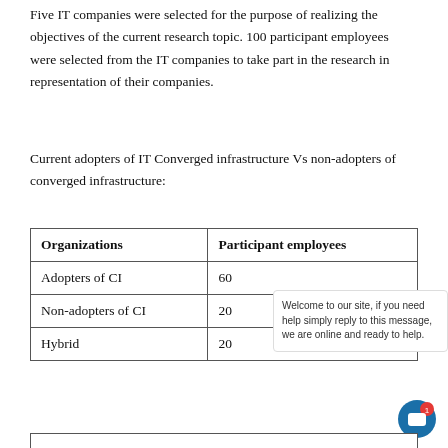Five IT companies were selected for the purpose of realizing the objectives of the current research topic. 100 participant employees were selected from the IT companies to take part in the research in representation of their companies.
Current adopters of IT Converged infrastructure Vs non-adopters of converged infrastructure:
| Organizations | Participant employees |
| --- | --- |
| Adopters of CI | 60 |
| Non-adopters of CI | 20 |
| Hybrid | 20 |